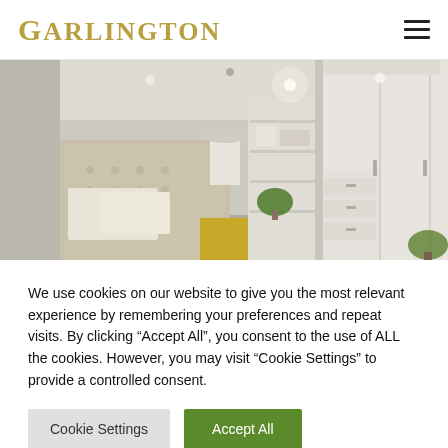GARLINGTON
[Figure (photo): Interior bedroom photo showing a upholstered headboard, white built-in wardrobes, shelving unit with plants, and recessed ceiling lights]
We use cookies on our website to give you the most relevant experience by remembering your preferences and repeat visits. By clicking “Accept All”, you consent to the use of ALL the cookies. However, you may visit “Cookie Settings” to provide a controlled consent.
Cookie Settings | Accept All